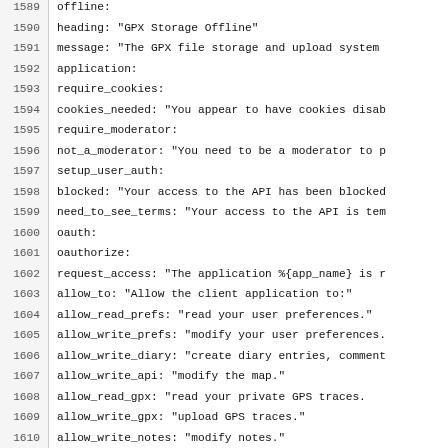Code listing lines 1589-1621, YAML/locale file content showing offline, application, oauth, and oauth_clients configuration keys